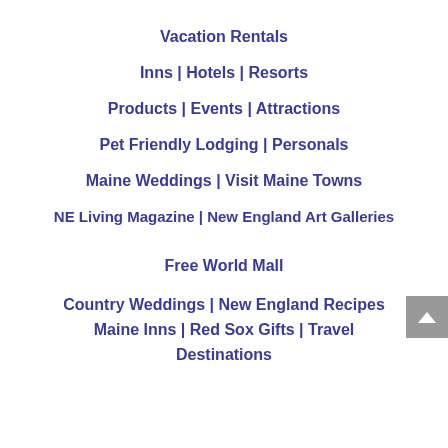Vacation Rentals
Inns | Hotels | Resorts
Products | Events | Attractions
Pet Friendly Lodging | Personals
Maine Weddings | Visit Maine Towns
NE Living Magazine | New England Art Galleries
Free World Mall
Country Weddings | New England Recipes Maine Inns | Red Sox Gifts | Travel Destinations